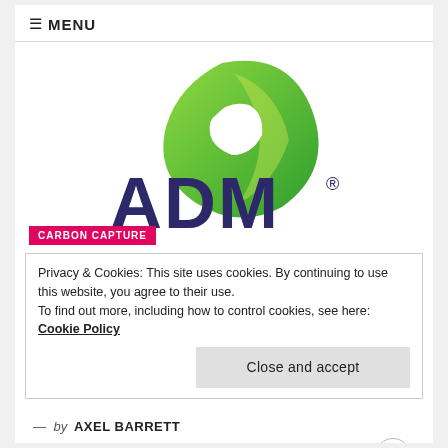≡ MENU
[Figure (logo): ADM logo with green leaf icon above dark blue ADM wordmark with registered trademark symbol]
CARBON CAPTURE
Privacy & Cookies: This site uses cookies. By continuing to use this website, you agree to their use.
To find out more, including how to control cookies, see here: Cookie Policy
Close and accept
— by AXEL BARRETT
May 25, 2021